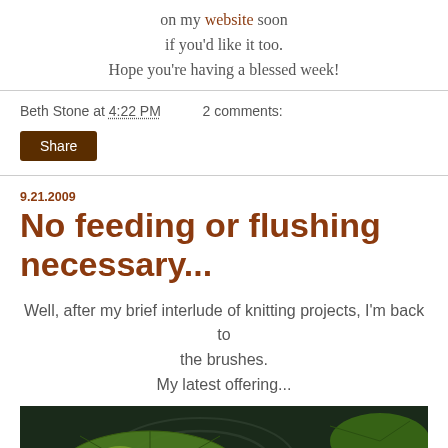on my website soon
if you'd like it too.
Hope you're having a blessed week!
Beth Stone at 4:22 PM   2 comments:
Share
9.21.2009
No feeding or flushing necessary...
Well, after my brief interlude of knitting projects, I'm back to the brushes.
My latest offering...
[Figure (photo): Painting of lily pads with a red fish and a white water lily flower on dark water]